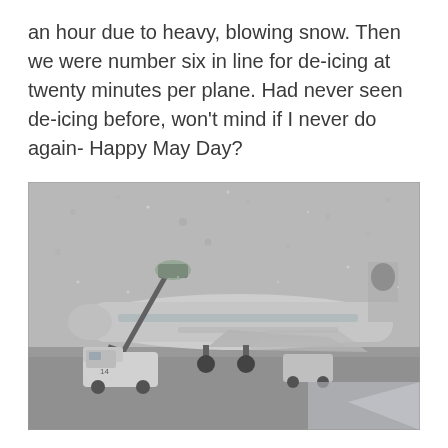an hour due to heavy, blowing snow. Then we were number six in line for de-icing at twenty minutes per plane. Had never seen de-icing before, won't mind if I never do again- Happy May Day?
[Figure (photo): A photograph taken through a rain/snow-covered window showing an airplane being de-iced on a snowy airport tarmac. A de-icing truck with an extended boom arm is visible to the left of the aircraft. The scene is grey and wintry with heavy snowfall visible. A service truck numbered 14 is visible near the plane.]